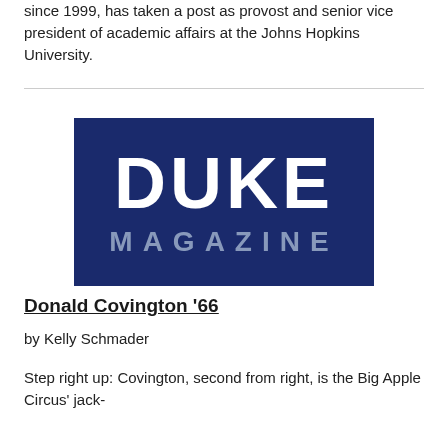since 1999, has taken a post as provost and senior vice president of academic affairs at the Johns Hopkins University.
[Figure (logo): Duke Magazine logo — dark navy blue rectangular background with large white bold text 'DUKE' and grey spaced text 'MAGAZINE' below it.]
Donald Covington '66
by Kelly Schmader
Step right up: Covington, second from right, is the Big Apple Circus' jack-